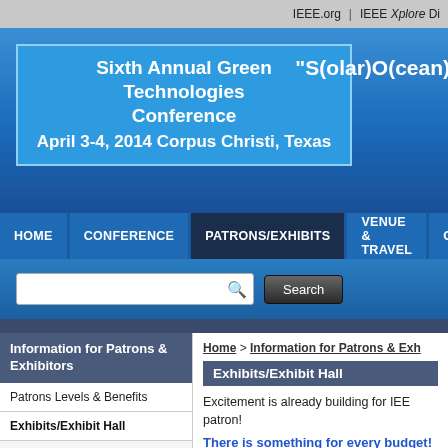IEEE.org | IEEE Xplore Di
Sixth Annual Green Technologies Conference
April 3-4, 2014 Corpus Christi, Texas
“S(olar)O(cean)
HOME | CONFERENCE | PATRONS/EXHIBITS | VENUE & TRAVEL | CONTA
Home > Information for Patrons & Exh
Information for Patrons & Exhibitors
Patrons Levels & Benefits
Exhibits/Exhibit Hall
Frequent Links
Additional Corporate Value
Attractions Around Town
Calendar
Exhibits/Exhibit Hall
Excitement is already building for IEE patron!
There is something for every budget!
Carbon Neutral level $20,000
Sustainable level $14,000
Eco-Friendly level $9,500
Green Conscious level $5500
Green Aware Level $2,800 ($3k a